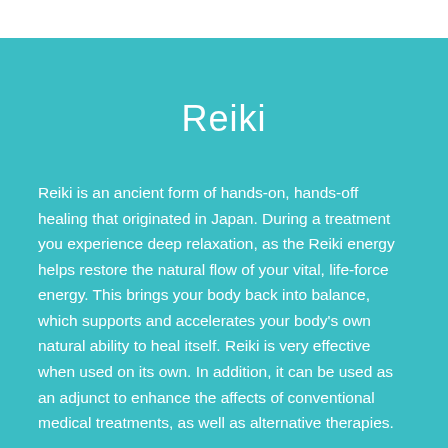Reiki
Reiki is an ancient form of hands-on, hands-off healing that originated in Japan.  During a treatment you experience deep relaxation, as the Reiki energy helps restore the natural flow of your vital, life-force energy.  This brings your body back into balance, which supports and accelerates your body's own natural ability to heal itself.  Reiki is very effective when used on its own.  In addition, it can be used as an adjunct to enhance the affects of conventional medical treatments, as well as alternative therapies.
The amazing power of Reiki can also help those wanting